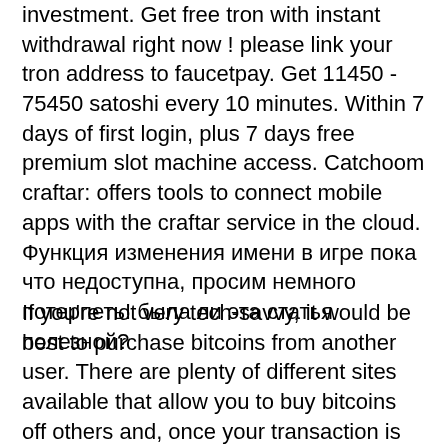investment. Get free tron with instant withdrawal right now ! please link your tron address to faucetpay. Get 11450 - 75450 satoshi every 10 minutes. Within 7 days of first login, plus 7 days free premium slot machine access. Catchoom craftar: offers tools to connect mobile apps with the craftar service in the cloud. Функция изменения имени в игре пока что недоступна, просим немного потерпеть! была ли эта статья полезной?
If you're not very tech-savvy, it would be best to purchase bitcoins from another user. There are plenty of different sites available that allow you to buy bitcoins off others and, once your transaction is completed, it will be credited to your account immediately. Once you've picked a casino where you prefer to play your favorite online slots, be sure to double-check that they offer a free spins bonus upon your first deposit. Once you